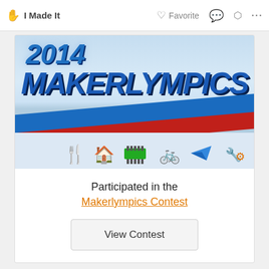✋ I Made It    ♡ Favorite  💬  ⬡  ...
[Figure (illustration): 2014 Makerlympics contest banner with large blue bold italic text '2014' and 'MAKERLYMPICS', Olympic-style blue and red diagonal stripes, and a row of colorful category icons (food, home, electronics, bicycle, paper airplane, workshop tools)]
Participated in the
Makerlympics Contest
View Contest